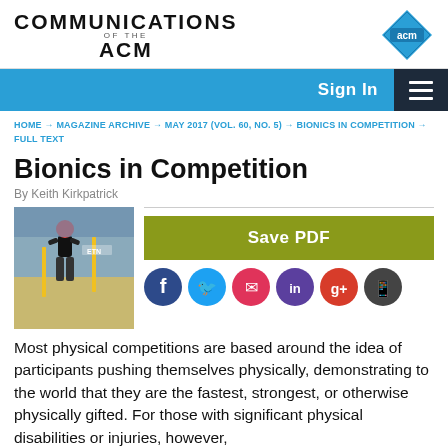COMMUNICATIONS OF THE ACM
[Figure (logo): ACM diamond logo with 'acm' text in blue and white]
Sign In
HOME → MAGAZINE ARCHIVE → MAY 2017 (VOL. 60, NO. 5) → BIONICS IN COMPETITION → FULL TEXT
Bionics in Competition
By Keith Kirkpatrick
[Figure (photo): Person in athletic gear using exoskeleton/bionic legs competing in race with yellow poles and crowd in background]
Save PDF
[Figure (infographic): Social media sharing icons: Facebook (dark blue), Twitter (light blue), Email (pink/red), LinkedIn (purple), Google+ (red), Mobile (dark gray)]
Most physical competitions are based around the idea of participants pushing themselves physically, demonstrating to the world that they are the fastest, strongest, or otherwise physically gifted. For those with significant physical disabilities or injuries, however,